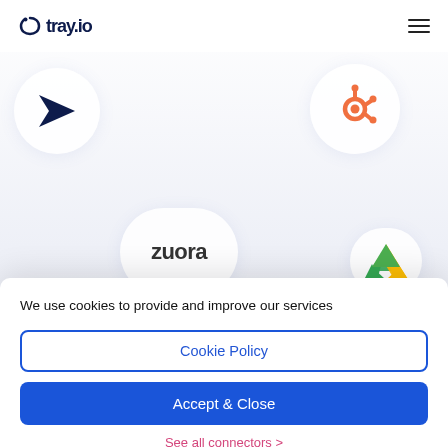tray.io
[Figure (logo): ActiveCampaign arrow logo icon in dark navy blue, inside a white circle with soft shadow]
[Figure (logo): HubSpot sprocket logo icon in orange, inside a white circle with soft shadow]
[Figure (logo): Zuora wordmark logo in dark gray, inside a white rounded pill shape with soft shadow]
[Figure (logo): Google Drive triangle logo in green and yellow, inside a white rounded shape with soft shadow]
We use cookies to provide and improve our services
Cookie Policy
Accept & Close
See all connectors >